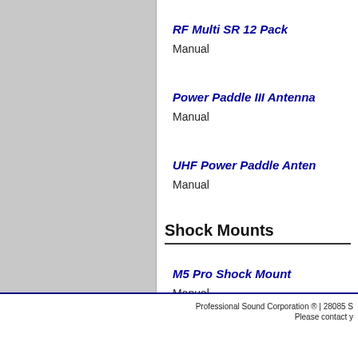RF Multi SR 12 Pack
Manual
Power Paddle III Antenna
Manual
UHF Power Paddle Antenna
Manual
Shock Mounts
M5 Pro Shock Mount
Manual
Professional Sound Corporation ® | 28085 S
Please contact y